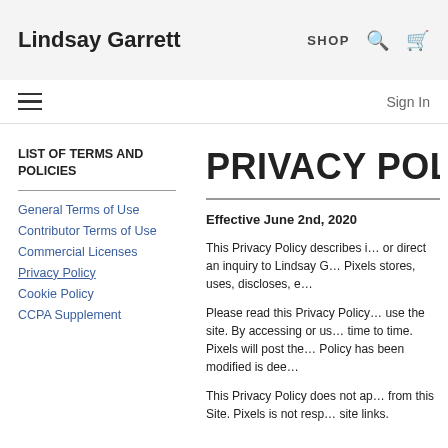Lindsay Garrett | SHOP
Sign In
LIST OF TERMS AND POLICIES
General Terms of Use
Contributor Terms of Use
Commercial Licenses
Privacy Policy
Cookie Policy
CCPA Supplement
PRIVACY POL
Effective June 2nd, 2020
This Privacy Policy describes i… or direct an inquiry to Lindsay G… Pixels stores, uses, discloses, e…
Please read this Privacy Policy … use the site. By accessing or us… time to time. Pixels will post the… Policy has been modified is dee…
This Privacy Policy does not ap… from this Site. Pixels is not resp… site links.